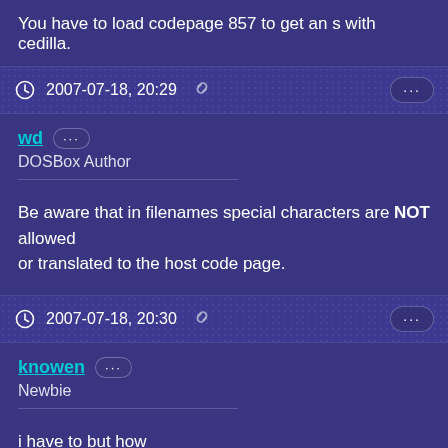You have to load codepage 857 to get an s with cedilla.
2007-07-18, 20:29
wd
DOSBox Author
Be aware that in filenames special characters are NOT allowed
or translated to the host code page.
2007-07-18, 20:30
knowen
Newbie
i have to but how